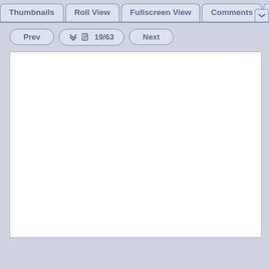Thumbnails | Roll View | Fullscreen View | Comments | M
Prev  ≫ 🖶 19/63  Next
[Figure (other): Blank white document page area]